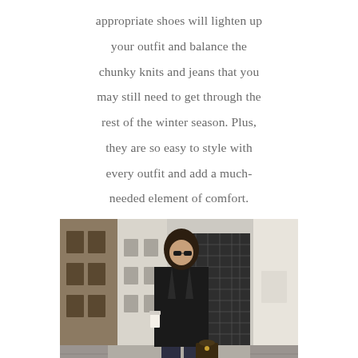appropriate shoes will lighten up your outfit and balance the chunky knits and jeans that you may still need to get through the rest of the winter season. Plus, they are so easy to style with every outfit and add a much-needed element of comfort.
[Figure (photo): A woman dressed in black standing on a city street, holding a coffee cup and a small bag, with storefronts in the background.]